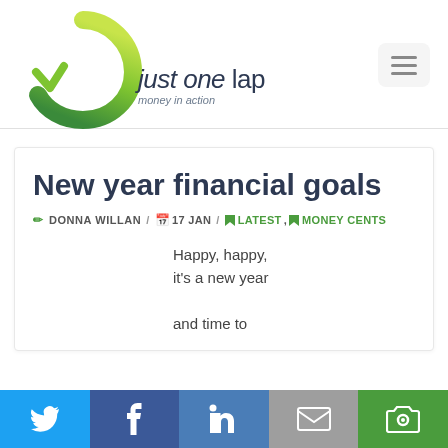[Figure (logo): Just One Lap logo with circular green swoosh and text 'just one lap / money in action']
New year financial goals
DONNA WILLAN / 17 JAN / LATEST, MONEY CENTS
Happy, happy, it's a new year and time to
[Figure (infographic): Social share bar with Twitter, Facebook, LinkedIn, Email, and camera/share icons]